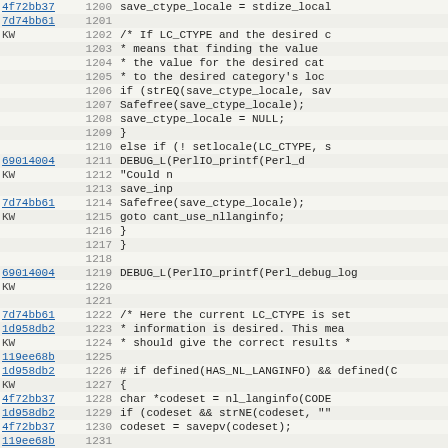[Figure (screenshot): Source code diff/blame view showing C code lines 1200-1231, with commit hash annotations in the left column, line numbers in the second column, and code content on the right. Background is light tan/beige.]